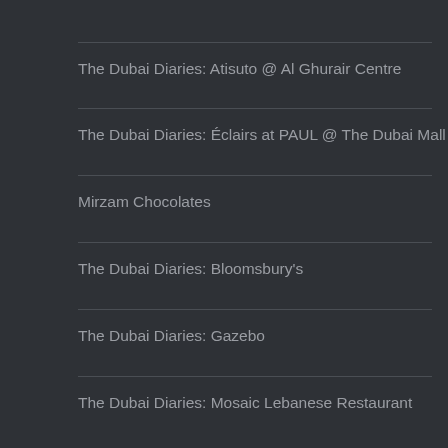The Dubai Diaries: Atisuto @ Al Ghurair Centre
The Dubai Diaries: Éclairs at PAUL @ The Dubai Mall
Mirzam Chocolates
The Dubai Diaries: Bloomsbury's
The Dubai Diaries: Gazebo
The Dubai Diaries: Mosaic Lebanese Restaurant
The Dubai Diaries: P. F. Chang's